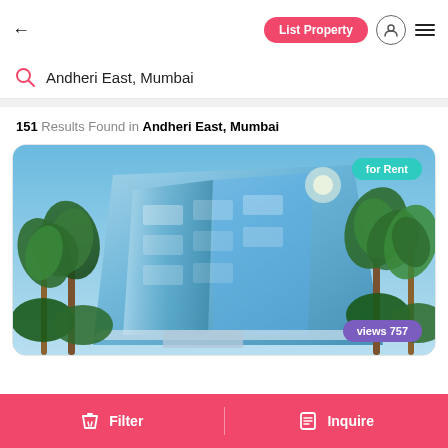← List Property
Andheri East, Mumbai
151 Results Found in Andheri East, Mumbai
[Figure (photo): Photo of a glass commercial building with palm trees, tagged 'for Rent' and 'views 757']
Filter | Inquire